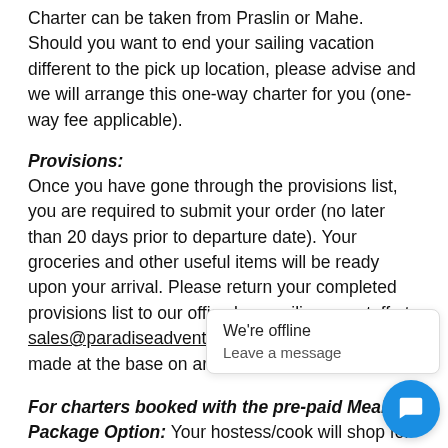Charter can be taken from Praslin or Mahe. Should you want to end your sailing vacation different to the pick up location, please advise and we will arrange this one-way charter for you (one-way fee applicable).
Provisions:
Once you have gone through the provisions list, you are required to submit your order (no later than 20 days prior to departure date). Your groceries and other useful items will be ready upon your arrival. Please return your completed provisions list to our office by emailing our staff at: sales@paradiseadventures.com.au. Payment is made at the base on arrival.
For charters booked with the pre-paid Meal Package Option: Your hostess/cook will shop for provisions (according to your preferences) and have your vessel fully stocked and ready prior to your arrival. All the cooking and cleaning in the galley will be taken care of by your hostess/cook while y...
For charters booked ...s/c... You will need to supply your own food by shopping on